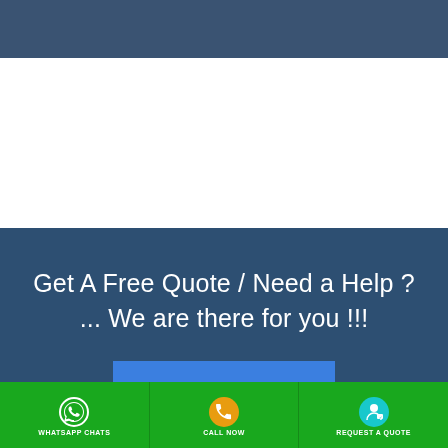[Figure (screenshot): Dark blue top bar / header strip at top of page]
Get A Free Quote / Need a Help ?
... We are there for you !!!
CONTACT US
[Figure (infographic): Dark navy strip near bottom]
[Figure (infographic): Green footer bar with three cells: WHATSAPP CHATS (WhatsApp icon), CALL NOW (phone icon orange), REQUEST A QUOTE (person icon cyan)]